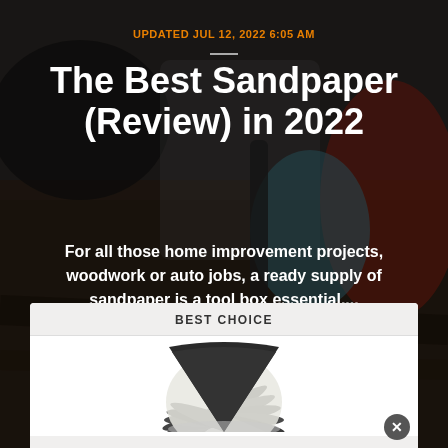[Figure (photo): Background photo of a person wearing blue gloves using sandpaper on a surface, dark and blurred]
UPDATED JUL 12, 2022 6:05 AM
The Best Sandpaper (Review) in 2022
For all those home improvement projects, woodwork or auto jobs, a ready supply of sandpaper is a tool box essential....
BEST CHOICE
[Figure (photo): Fan-spread stack of sandpaper sheets, various grits, fanned out in a circle]